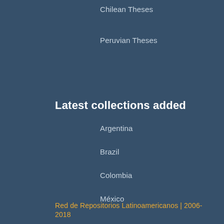Chilean Theses
Peruvian Theses
Latest collections added
Argentina
Brazil
Colombia
México
Red de Repositorios Latinoamericanos | 2006-2018